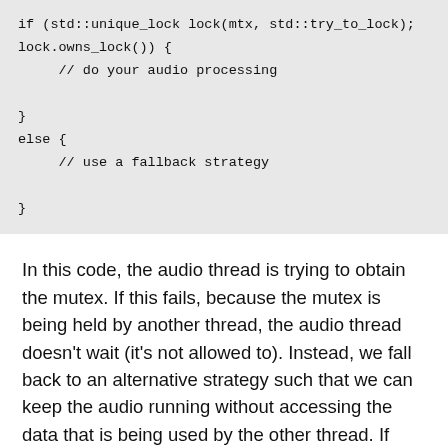if (std::unique_lock lock(mtx, std::try_to_lock);
lock.owns_lock()) {
    // do your audio processing
}
else {
    // use a fallback strategy
}
In this code, the audio thread is trying to obtain the mutex. If this fails, because the mutex is being held by another thread, the audio thread doesn't wait (it's not allowed to). Instead, we fall back to an alternative strategy such that we can keep the audio running without accessing the data that is being used by the other thread. If you're lucky, the object can use the last known values of the needed parameters instead, or do something else that the user won't notice. If you're less lucky, you'll have to switch your audio effect to bypass mode, or perhaps fade out, or some similar fallback strategy. It's probably best to think about a recovery still.